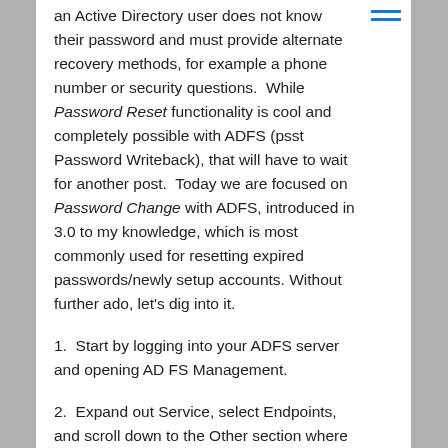an Active Directory user does not know their password and must provide alternate recovery methods, for example a phone number or security questions.  While Password Reset functionality is cool and completely possible with ADFS (psst Password Writeback), that will have to wait for another post.  Today we are focused on Password Change with ADFS, introduced in 3.0 to my knowledge, which is most commonly used for resetting expired passwords/newly setup accounts. Without further ado, let's dig into it.
1.  Start by logging into your ADFS server and opening AD FS Management.
2.  Expand out Service, select Endpoints, and scroll down to the Other section where you will find /adfs/portal/updatepassword/.